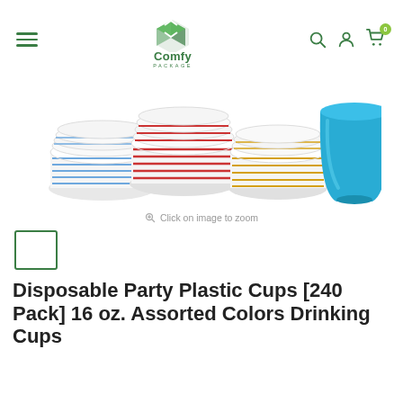[Figure (logo): Comfy Package logo - green box with arrows icon, text 'Comfy PACKAGE']
[Figure (photo): Product photo showing stacks of disposable plastic cups in multiple colors: blue/white striped, red/white striped, plain light blue, and yellow/white striped stacked cups, plus a solid turquoise/cyan bowl cup standing upright]
Click on image to zoom
[Figure (photo): Small thumbnail image placeholder with green border]
Disposable Party Plastic Cups [240 Pack] 16 oz. Assorted Colors Drinking Cups